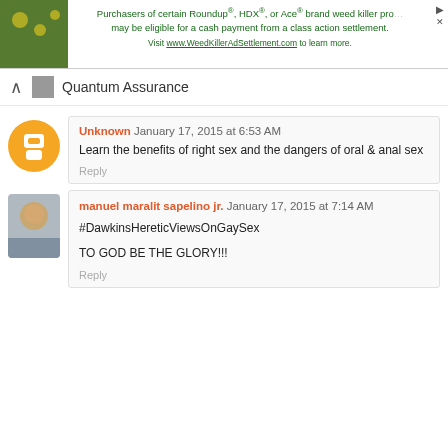[Figure (screenshot): Ad banner: Purchasers of certain Roundup®, HDX®, or Ace® brand weed killer products may be eligible for a cash payment from a class action settlement. Visit www.WeedKillerAdSettlement.com to learn more.]
Quantum Assurance
Unknown January 17, 2015 at 6:53 AM
Learn the benefits of right sex and the dangers of oral & anal sex
Reply
manuel maralit sapelino jr. January 17, 2015 at 7:14 AM
#DawkinsHereticViewsOnGaySex


TO GOD BE THE GLORY!!!
Reply